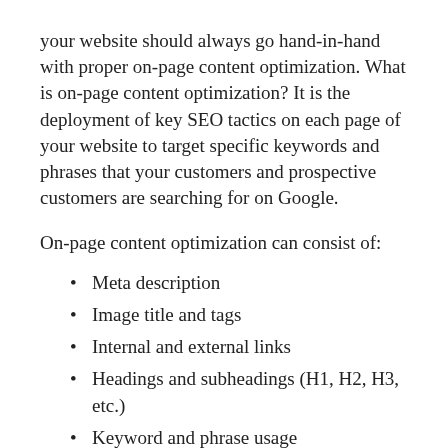your website should always go hand-in-hand with proper on-page content optimization. What is on-page content optimization? It is the deployment of key SEO tactics on each page of your website to target specific keywords and phrases that your customers and prospective customers are searching for on Google.
On-page content optimization can consist of:
Meta description
Image title and tags
Internal and external links
Headings and subheadings (H1, H2, H3, etc.)
Keyword and phrase usage